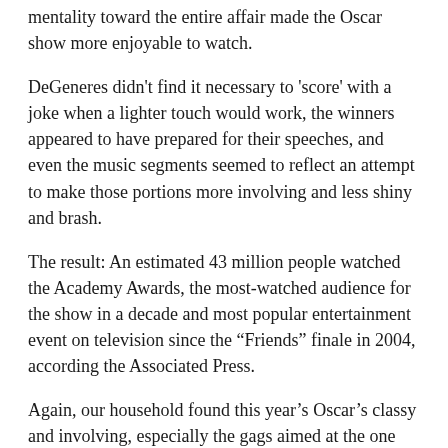mentality toward the entire affair made the Oscar show more enjoyable to watch.
DeGeneres didn't find it necessary to 'score' with a joke when a lighter touch would work, the winners appeared to have prepared for their speeches, and even the music segments seemed to reflect an attempt to make those portions more involving and less shiny and brash.
The result: An estimated 43 million people watched the Academy Awards, the most-watched audience for the show in a decade and most popular entertainment event on television since the “Friends” finale in 2004, according the Associated Press.
Again, our household found this year’s Oscar’s classy and involving, especially the gags aimed at the one percent profile of the crowd in the theater.
Having ordered pizzas, DeGeneres meekly offered that she didn’t have any money. Then she turned to the front rows filled with some of the richest pretty faces on earth